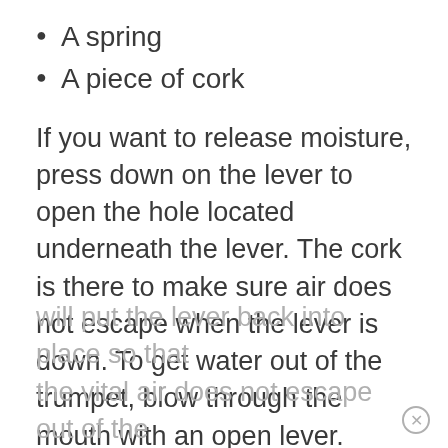A spring
A piece of cork
If you want to release moisture, press down on the lever to open the hole located underneath the lever. The cork is there to make sure air does not escape when the lever is down. To get water out of the trumpet, blow through the mouth with an open lever.
When you release the lever, the spring will put the lever back into place so that the vital air does not escape out of the